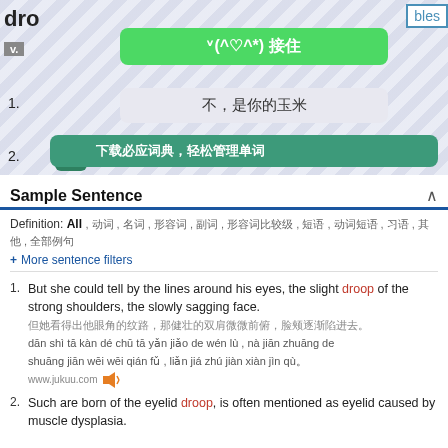dro
bles
v.
ᵛ(^♡^*) 接住
1.
不，是你的玉米
2.
下载必应词典，轻松管理单词
Sample Sentence
Definition: All , 动词 , 名词 , 形容词 , 副词 , 形容词比较级 , 短语 , 动词短语 , 习语 , 其他 , 全部例句
+ More sentence filters
1. But she could tell by the lines around his eyes, the slight droop of the strong shoulders, the slowly sagging face.
[Chinese characters]
dān shì tā kàn dé chū tā yǎn jiǎo de wén lù , nà jiān zhuāng de shuāng jiān wēi wēi qián fǔ , liǎn jiá zhú jiàn xiàn jìn qù。
www.jukuu.com
2. Such are born of the eyelid droop, is often mentioned as eyelid caused by muscle dysplasia.